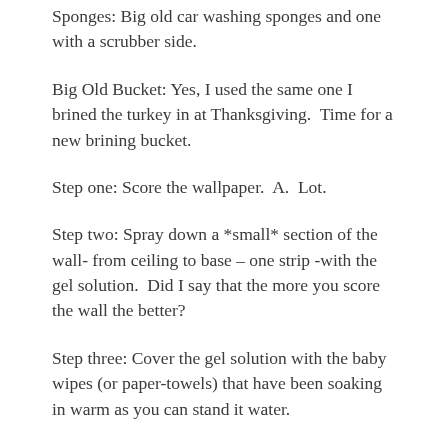Sponges: Big old car washing sponges and one with a scrubber side.
Big Old Bucket: Yes, I used the same one I brined the turkey in at Thanksgiving.  Time for a new brining bucket.
Step one: Score the wallpaper.  A.  Lot.
Step two: Spray down a *small* section of the wall- from ceiling to base – one strip -with the gel solution.  Did I say that the more you score the wall the better?
Step three: Cover the gel solution with the baby wipes (or paper-towels) that have been soaking in warm as you can stand it water.